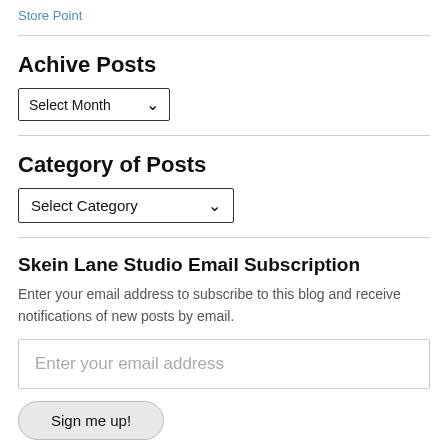Store Point
Achive Posts
Select Month
Category of Posts
Select Category
Skein Lane Studio Email Subscription
Enter your email address to subscribe to this blog and receive notifications of new posts by email.
Enter your email address
Sign me up!